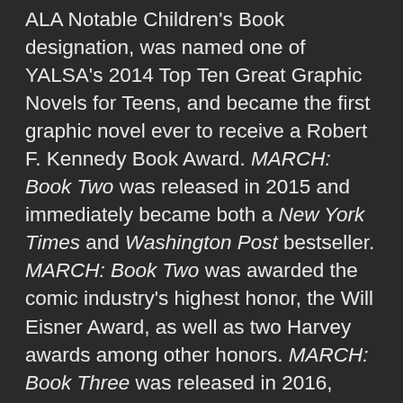ALA Notable Children's Book designation, was named one of YALSA's 2014 Top Ten Great Graphic Novels for Teens, and became the first graphic novel ever to receive a Robert F. Kennedy Book Award. MARCH: Book Two was released in 2015 and immediately became both a New York Times and Washington Post bestseller. MARCH: Book Two was awarded the comic industry's highest honor, the Will Eisner Award, as well as two Harvey awards among other honors. MARCH: Book Three was released in 2016, debuted at #1 on the New York Times Bestseller list, and became the first comics work to ever win the National Book Award. In January 2017, MARCH: Book Three made history again by winning four ALA Youth Media Awards, including the Printz Award, the Sibert Medal, the Coretta Scott King Author Book Award, and the YALSA Excellence in Nonfiction Award, becoming the first book to ever win four Youth Media Awards in a single year and cementing the MARCH Trilogy's place at the pinnacle of comics and